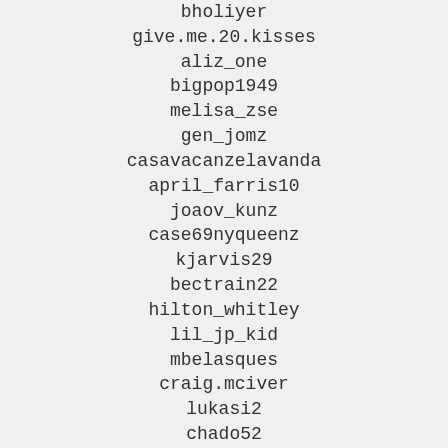bholiyer
give.me.20.kisses
aliz_one
bigpop1949
melisa_zse
gen_jomz
casavacanzelavanda
april_farris10
joaov_kunz
case69nyqueenz
kjarvis29
bectrain22
hilton_whitley
lil_jp_kid
mbelasques
craig.mciver
lukasi2
chado52
loo1980
batman_chanh
friend_4ever_2020
mercier.dominiqu
kambleonline
kuljeet7888
maria_mohler